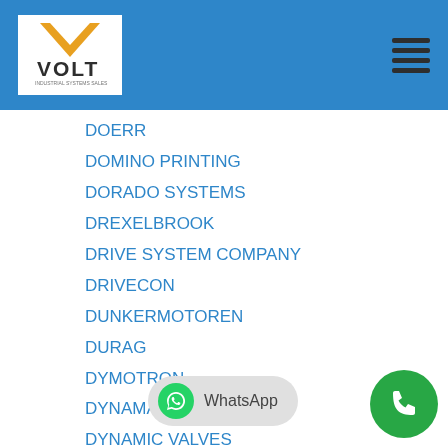VOLT Industrial Systems logo and navigation
DOERR
DOMINO PRINTING
DORADO SYSTEMS
DREXELBROOK
DRIVE SYSTEM COMPANY
DRIVECON
DUNKERMOTOREN
DURAG
DYMOTRON
DYNAMATIC
DYNAMIC VALVES
DYNAPAR
DYNAPOWER
DYNISCO
EAGLE
ECS
EG&G
EGAN
ELB ELEC
ELDETCO INC